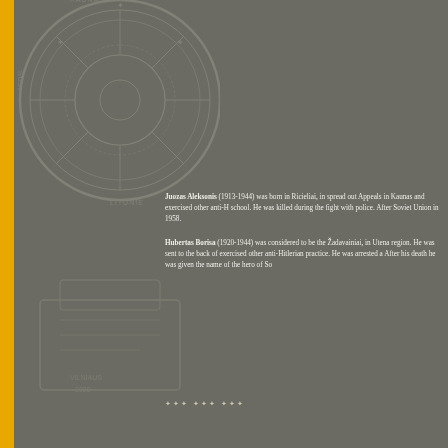[Figure (illustration): Circular medallion/seal watermark in top-left area with text around the perimeter reading 'KAUNAS LITUNIE' and decorative imagery in center, rendered in muted grey tones as background element]
[Figure (illustration): Lower watermark/seal or emblem figure in lower-left area, partially visible, rendered in muted grey tones as background element]
Juozas Aleksonis (1913-1944) was born in Ricieliai, in spread out Appeals in Kaunas and exercised other anti-H school. He was killed during the fight with police. After Soviet Union in 1958.
Hubertas Borisa (1920-1944) was considered to be the Žadavainiai, in Utena region. He was sent to the back of exercised other anti-Hitlerian practice. He was arrested a After his death he was given the name of the hero of So
✦✦✦ ✦✦✦ ✦✦✦